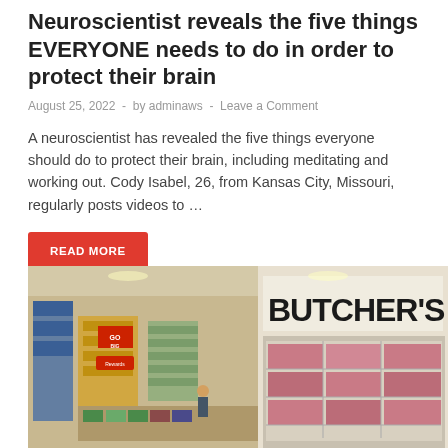Neuroscientist reveals the five things EVERYONE needs to do in order to protect their brain
August 25, 2022  -  by adminaws  -  Leave a Comment
A neuroscientist has revealed the five things everyone should do to protect their brain, including meditating and working out. Cody Isabel, 26, from Kansas City, Missouri, regularly posts videos to …
READ MORE
[Figure (photo): Interior of a grocery/butcher store showing aisles with products and a large BUTCHER'S sign on the right side, viewed from an elevated angle.]